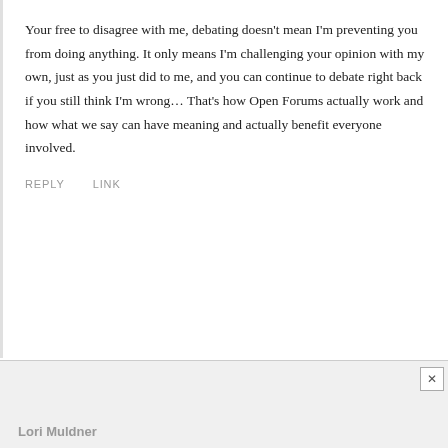Your free to disagree with me, debating doesn't mean I'm preventing you from doing anything. It only means I'm challenging your opinion with my own, just as you just did to me, and you can continue to debate right back if you still think I'm wrong… That's how Open Forums actually work and how what we say can have meaning and actually benefit everyone involved.
REPLY    LINK
Lori Muldner